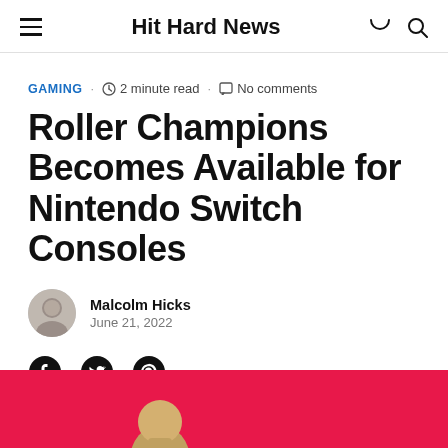Hit Hard News
GAMING · 2 minute read · No comments
Roller Champions Becomes Available for Nintendo Switch Consoles
Malcolm Hicks
June 21, 2022
[Figure (other): Social share icons: Facebook, Twitter, Pinterest]
[Figure (photo): Red background banner image with game characters at the bottom of the page]